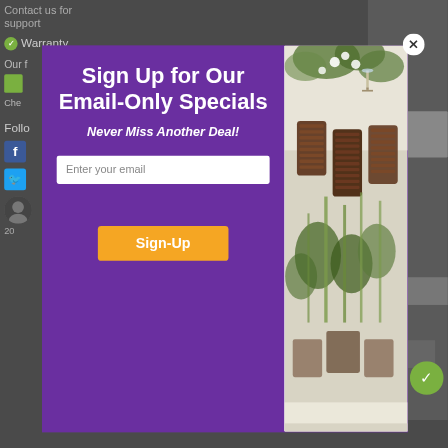[Figure (screenshot): Background of a website page showing dark gray UI with 'Contact us for support', Warranty section with green checkmark icon, thumbs-up icon, 'Che' text, 'Follo' text, Facebook icon, Twitter icon, and a person avatar with '20' label]
[Figure (screenshot): Email signup modal popup overlay with purple left panel and a photo of wedding chair/table decor on the right. Purple panel contains title 'Sign Up for Our Email-Only Specials', subtitle 'Never Miss Another Deal!', an email input field, and an orange 'Sign-Up' button. A close (X) button appears in top right corner of modal.]
Sign Up for Our Email-Only Specials
Never Miss Another Deal!
Enter your email
Sign-Up